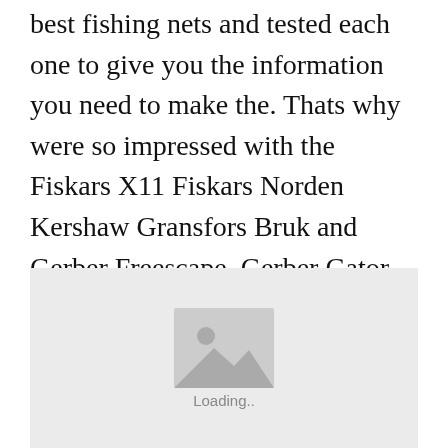best fishing nets and tested each one to give you the information you need to make the. Thats why were so impressed with the Fiskars X11 Fiskars Norden Kershaw Gransfors Bruk and Gerber Freescape. Gerber Gator Combo Axe II.
[Figure (photo): Image placeholder with a landscape/photo icon and 'Loading..' text below it, on a light grey background.]